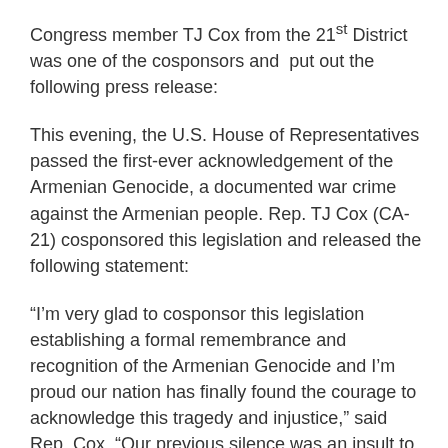Congress member TJ Cox from the 21st District was one of the cosponsors and  put out the following press release:
This evening, the U.S. House of Representatives passed the first-ever acknowledgement of the Armenian Genocide, a documented war crime against the Armenian people. Rep. TJ Cox (CA-21) cosponsored this legislation and released the following statement:
“I’m very glad to cosponsor this legislation establishing a formal remembrance and recognition of the Armenian Genocide and I’m proud our nation has finally found the courage to acknowledge this tragedy and injustice,” said Rep. Cox. “Our previous silence was an insult to the Armenian-American community. We must acknowledge acts of war against innocent civilians wherever they occur, to defend human dignity and stop these atrocities from happening